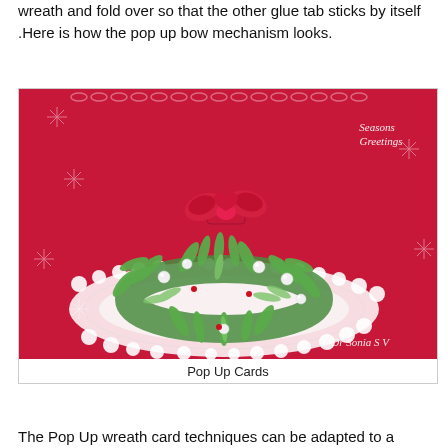wreath and fold over so that the other glue tab sticks by itself .Here is how the pop up bow mechanism looks.
[Figure (photo): A pop-up Christmas wreath card made from green paper leaves, white pearl decorations, and a red bow, displayed on a white lacy doily against a red background with white snowflake and chain decorations. Text 'Seasons Greetings' visible on right. Watermark reads 'Dr Sonia S V'.]
Pop Up Cards
The Pop Up wreath card techniques can be adapted to a